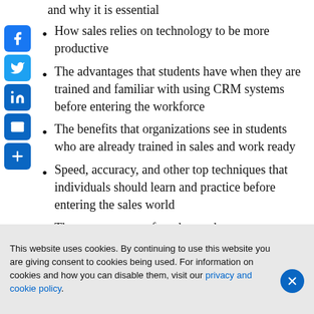and why it is essential
How sales relies on technology to be more productive
The advantages that students have when they are trained and familiar with using CRM systems before entering the workforce
The benefits that organizations see in students who are already trained in sales and work ready
Speed, accuracy, and other top techniques that individuals should learn and practice before entering the sales world
The success rates of graduates that are
This website uses cookies. By continuing to use this website you are giving consent to cookies being used. For information on cookies and how you can disable them, visit our privacy and cookie policy.